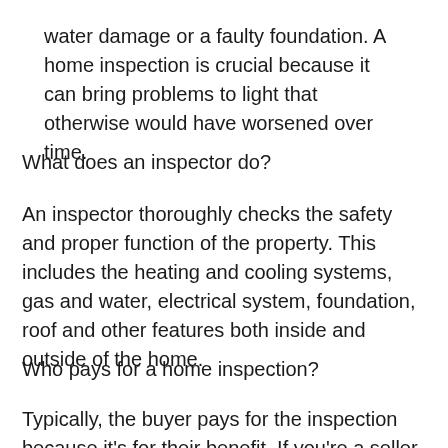water damage or a faulty foundation. A home inspection is crucial because it can bring problems to light that otherwise would have worsened over time.
What does an inspector do?
An inspector thoroughly checks the safety and proper function of the property. This includes the heating and cooling systems, gas and water, electrical system, foundation, roof and other features both inside and outside of the home.
Who pays for a home inspection?
Typically, the buyer pays for the inspection because it's for their benefit. If you're a seller who would like to do a pre-listing home inspection, you'd pay for it. The...